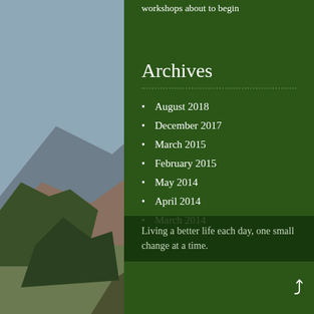workshops about to begin
Archives
August 2018
December 2017
March 2015
February 2015
May 2014
April 2014
March 2014
Living a better life each day, one small change at a time.